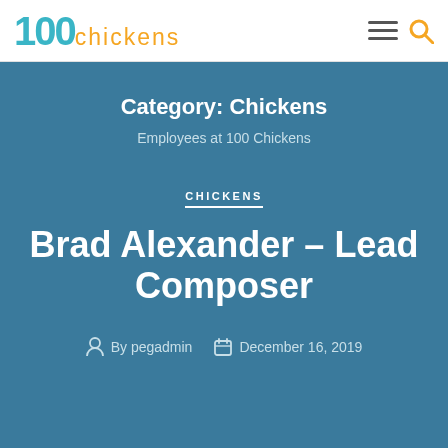100 chickens
Category: Chickens
Employees at 100 Chickens
CHICKENS
Brad Alexander – Lead Composer
By pegadmin   December 16, 2019